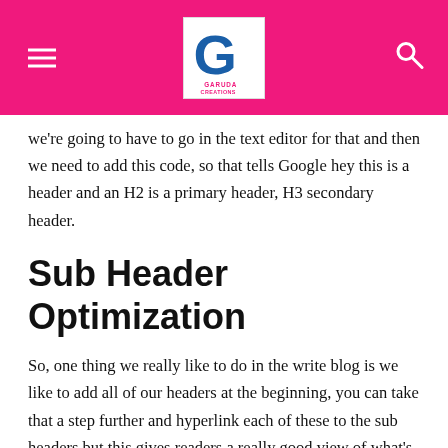[Garuda Creations logo, hamburger menu, search icon on pink background]
we're going to have to go in the text editor for that and then we need to add this code, so that tells Google hey this is a header and an H2 is a primary header, H3 secondary header.
Sub Header Optimization
So, one thing we really like to do in the write blog is we like to add all of our headers at the beginning, you can take that a step further and hyperlink each of these to the sub headers but this gives readers a really good view of what's coming and lists like these do really well in search. So, sometimes these get inside of the featured snippets. Okay, so the rest of the content we need to make sure that it's broken up we've proofread it, we need to make sure all the sub headers are in correctly, so see how this is that is an H2 so this is an H2 so this is that has been published then H2 so that should